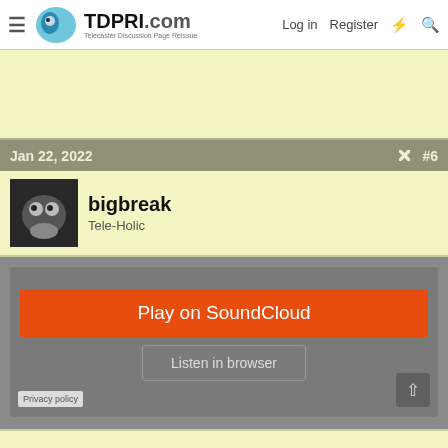TDPRI.com - Telecaster Discussion Page Reissue | Log in | Register
Jan 22, 2022  #6
bigbreak
Tele-Holic
[Figure (screenshot): SoundCloud embedded player with orange 'Play on SoundCloud' button, grey 'Listen in browser' button, Privacy policy link, and an up-arrow button in the bottom right.]